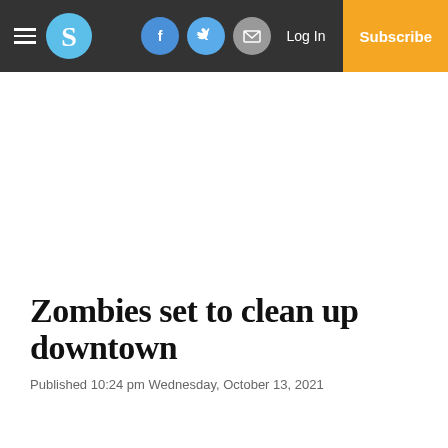Navigation bar with hamburger menu, S logo, Facebook, Twitter, Email icons, Log In, Subscribe
Zombies set to clean up downtown
Published 10:24 pm Wednesday, October 13, 2021